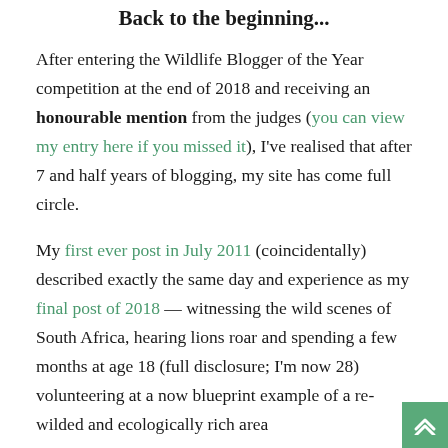Back to the beginning...
After entering the Wildlife Blogger of the Year competition at the end of 2018 and receiving an honourable mention from the judges (you can view my entry here if you missed it), I've realised that after 7 and half years of blogging, my site has come full circle.
My first ever post in July 2011 (coincidentally) described exactly the same day and experience as my final post of 2018 — witnessing the wild scenes of South Africa, hearing lions roar and spending a few months at age 18 (full disclosure; I'm now 28) volunteering at a now blueprint example of a re-wilded and ecologically rich area